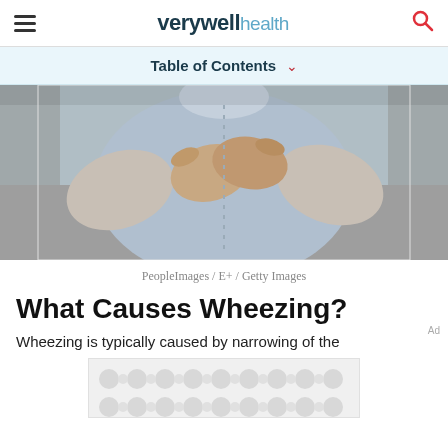verywell health
Table of Contents
[Figure (photo): Person sitting on a couch holding their chest with both hands, wearing a light blue button-up shirt, visible from neck to waist.]
PeopleImages / E+ / Getty Images
What Causes Wheezing?
Wheezing is typically caused by narrowing of the
[Figure (other): Advertisement placeholder with repeating circular pattern on gray background]